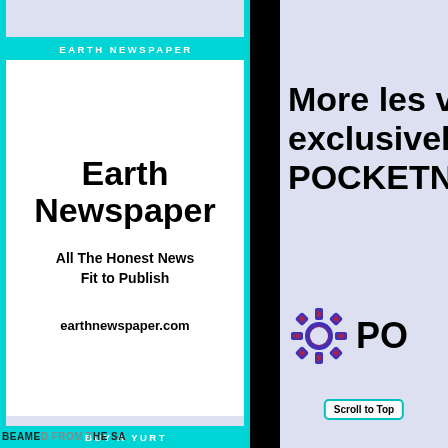EARTH NEWSPAPER
[Figure (screenshot): Earth Newspaper advertisement card with white background showing title 'Earth Newspaper', tagline 'All The Honest News Fit to Publish', and URL 'earthhnewspaper.com']
Earth Newspaper
All The Honest News Fit to Publish
earthnewspaper.com
BUY A YURT
[Figure (screenshot): Partial view of POCKETNET advertisement with text 'More les vi... exclusively... POCKETNE...' and red/blue gear logo with 'PO' text visible]
More les vi exclusively POCKETNE
BEAMED FROM THE SA
Scroll to Top